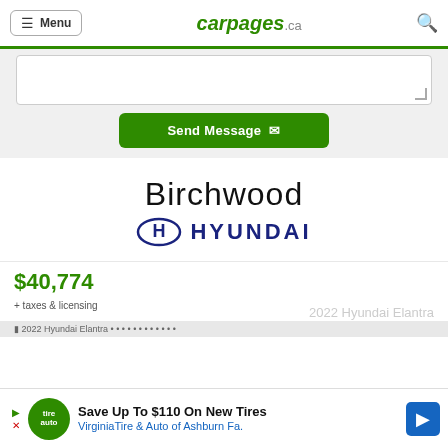Menu | carpages.ca
[Figure (screenshot): Message textarea with resize handle and Send Message button on green background]
[Figure (logo): Birchwood Hyundai dealer logo with Hyundai H badge]
$40,774
+ taxes & licensing
2022 Hyundai Elantra
[Figure (screenshot): Advertisement banner: Save Up To $110 On New Tires - VirginiaTire & Auto of Ashburn Fa.]